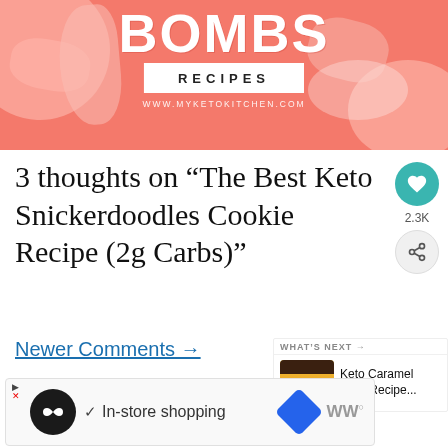[Figure (photo): Header banner image with salmon/ham food background, large bold 'BOMBS' text in white, 'RECIPES' in a white box, and website URL 'WWW.MYKETOKITCHEN.COM' below on coral/red background]
3 thoughts on “The Best Keto Snickerdoodles Cookie Recipe (2g Carbs)”
Newer Comments →
[Figure (infographic): What's Next widget showing a Keto Caramel Slice thumbnail and text 'WHAT'S NEXT → Keto Caramel Slice Recipe...']
[Figure (screenshot): Advertisement banner showing navigation arrows, infinite loop icon in black circle, checkmark, 'In-store shopping' text, blue diamond navigation icon, and WW logo]